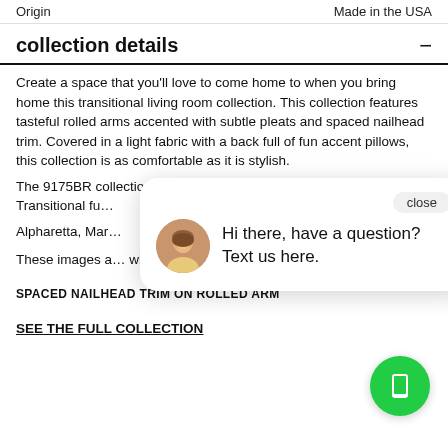Origin   Made in the USA
collection details
Create a space that you'll love to come home to when you bring home this transitional living room collection. This collection features tasteful rolled arms accented with subtle pleats and spaced nailhead trim. Covered in a light fabric with a back full of fun accent pillows, this collection is as comfortable as it is stylish.
The 9175BR collection is a great option if you are looking for Transitional furniture in the Goshen, New York, Alpharetta, Mar...
These images a... whole and may...
SPACED NAILHEAD TRIM ON ROLLED ARM
SEE THE FULL COLLECTION